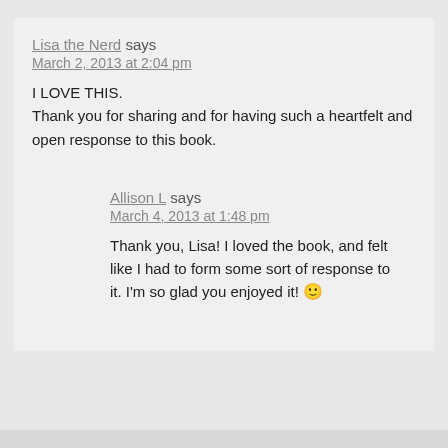Lisa the Nerd says
March 2, 2013 at 2:04 pm
I LOVE THIS.
Thank you for sharing and for having such a heartfelt and open response to this book.
Allison L says
March 4, 2013 at 1:48 pm
Thank you, Lisa! I loved the book, and felt like I had to form some sort of response to it. I'm so glad you enjoyed it! 🙂